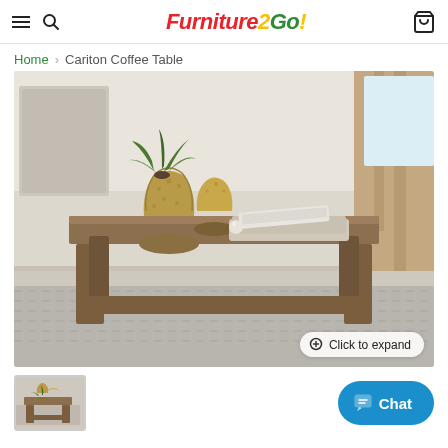Furniture2Go! — navigation header with hamburger menu, search, logo, and cart icon
Home > Cariton Coffee Table
[Figure (photo): Product photo of a rectangular wooden coffee table with a grey-brown finish, styled with two gold metallic vases and a decorative tray with a magazine on top. Set in a living room with beige drapes and a grey patterned rug. A 'Click to expand' button appears in the lower right corner.]
[Figure (photo): Small thumbnail image of the same coffee table product photo]
Chat